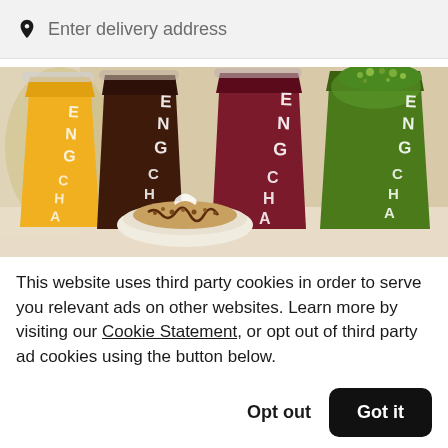Enter delivery address
[Figure (photo): Four tall FENG CHA branded drinks cups (yellow/orange, dark brown, red/purple, green) arranged side by side with a dessert plate in the foreground]
This website uses third party cookies in order to serve you relevant ads on other websites. Learn more by visiting our Cookie Statement, or opt out of third party ad cookies using the button below.
Opt out
Got it